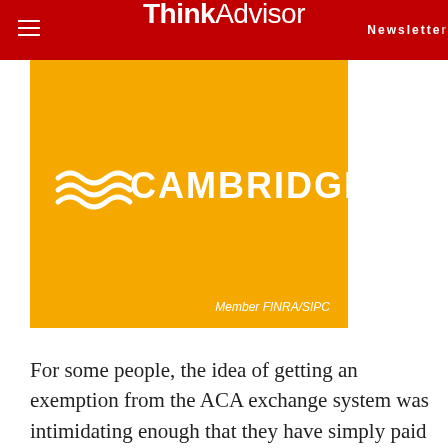ThinkAdvisor Newsletter
[Figure (logo): Cambridge Investment Research logo on golden/amber background with wave motif and 'Member FINRA/SIPC' text]
For some people, the idea of getting an exemption from the ACA exchange system was intimidating enough that they have simply paid the penalty, or